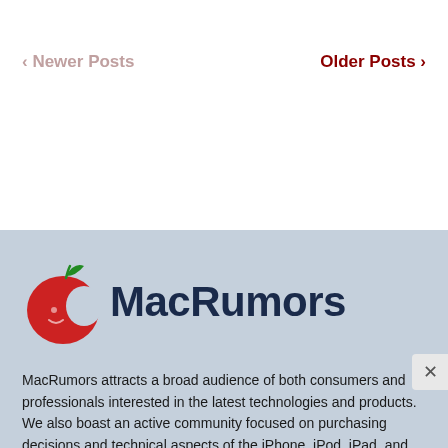< Newer Posts    Older Posts >
[Figure (logo): MacRumors logo with red apple icon and dark blue MacRumors text]
MacRumors attracts a broad audience of both consumers and professionals interested in the latest technologies and products. We also boast an active community focused on purchasing decisions and technical aspects of the iPhone, iPod, iPad, and Mac platforms.
About MacRumors.com